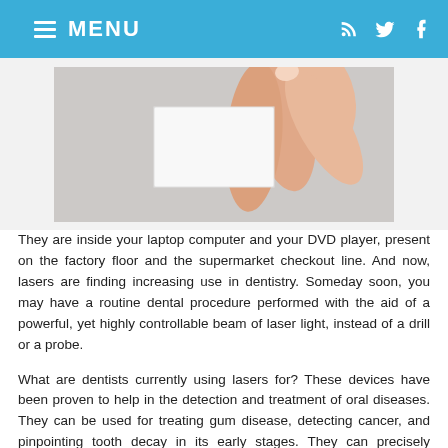MENU
[Figure (photo): A hand holding a small white card or object against a light gray background, close-up shot.]
They are inside your laptop computer and your DVD player, present on the factory floor and the supermarket checkout line. And now, lasers are finding increasing use in dentistry. Someday soon, you may have a routine dental procedure performed with the aid of a powerful, yet highly controllable beam of laser light, instead of a drill or a probe.
What are dentists currently using lasers for? These devices have been proven to help in the detection and treatment of oral diseases. They can be used for treating gum disease, detecting cancer, and pinpointing tooth decay in its early stages. They can precisely remove tissue, seal painful ulcerations like canker sores, and even treat small cavities. In the future, dental laser technology will undoubtedly find even more applications.